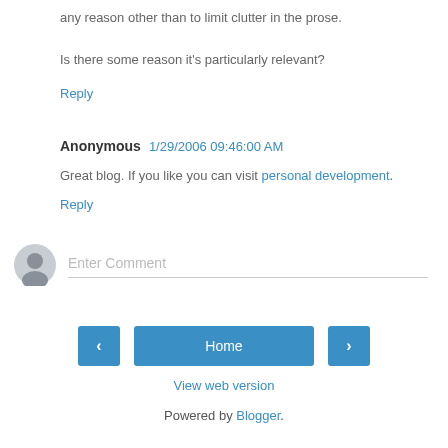any reason other than to limit clutter in the prose.
Is there some reason it's particularly relevant?
Reply
Anonymous  1/29/2006 09:46:00 AM
Great blog. If you like you can visit personal development.
Reply
[Figure (illustration): User avatar placeholder icon (grey silhouette)]
Enter Comment
Home
View web version
Powered by Blogger.